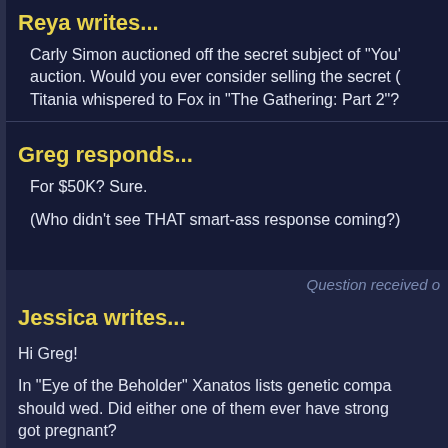Reya writes...
Carly Simon auctioned off the secret subject of "You'... auction. Would you ever consider selling the secret (... Titania whispered to Fox in "The Gathering: Part 2"?
Greg responds...
For $50K? Sure.
(Who didn't see THAT smart-ass response coming?)
Question received o...
Jessica writes...
Hi Greg!
In "Eye of the Beholder" Xanatos lists genetic compa... should wed. Did either one of them ever have strong... got pregnant?
Thanks!